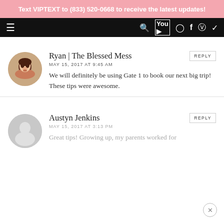Text VIPTEXT to (833) 520-0668 to receive the latest updates!
Navigation bar with menu icon and social media icons
Ryan | The Blessed Mess
MAY 15, 2017 AT 9:45 AM
We will definitely be using Gate 1 to book our next big trip! These tips were awesome.
Austyn Jenkins
MAY 15, 2017 AT 3:13 PM
Great tips! Growing up, my parents worked for